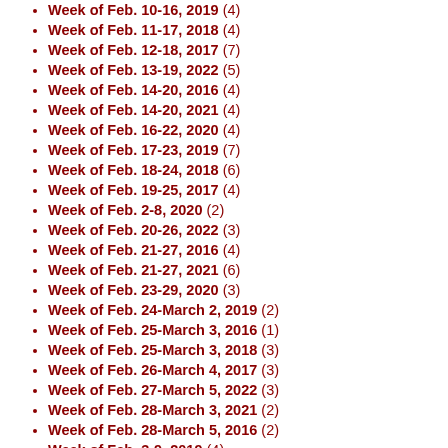Week of Feb. 10-16, 2019 (4)
Week of Feb. 11-17, 2018 (4)
Week of Feb. 12-18, 2017 (7)
Week of Feb. 13-19, 2022 (5)
Week of Feb. 14-20, 2016 (4)
Week of Feb. 14-20, 2021 (4)
Week of Feb. 16-22, 2020 (4)
Week of Feb. 17-23, 2019 (7)
Week of Feb. 18-24, 2018 (6)
Week of Feb. 19-25, 2017 (4)
Week of Feb. 2-8, 2020 (2)
Week of Feb. 20-26, 2022 (3)
Week of Feb. 21-27, 2016 (4)
Week of Feb. 21-27, 2021 (6)
Week of Feb. 23-29, 2020 (3)
Week of Feb. 24-March 2, 2019 (2)
Week of Feb. 25-March 3, 2016 (1)
Week of Feb. 25-March 3, 2018 (3)
Week of Feb. 26-March 4, 2017 (3)
Week of Feb. 27-March 5, 2022 (3)
Week of Feb. 28-March 3, 2021 (2)
Week of Feb. 28-March 5, 2016 (2)
Week of Feb. 3-9, 2019 (4)
Week of Feb. 4-10, 2018 (4)
Week of Feb. 5-11, 2017 (8)
Week of Feb. 6-12, 2022 (8)